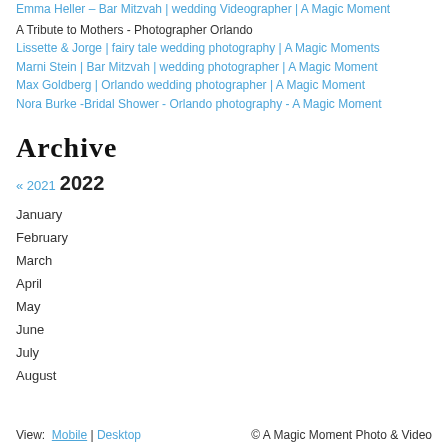Emma Heller – Bar Mitzvah | wedding Videographer | A Magic Moment
A Tribute to Mothers - Photographer Orlando
Lissette & Jorge | fairy tale wedding photography | A Magic Moments
Marni Stein | Bar Mitzvah | wedding photographer | A Magic Moment
Max Goldberg | Orlando wedding photographer | A Magic Moment
Nora Burke -Bridal Shower - Orlando photography - A Magic Moment
Archive
« 2021  2022
January
February
March
April
May
June
July
August
View: Mobile | Desktop   © A Magic Moment Photo & Video